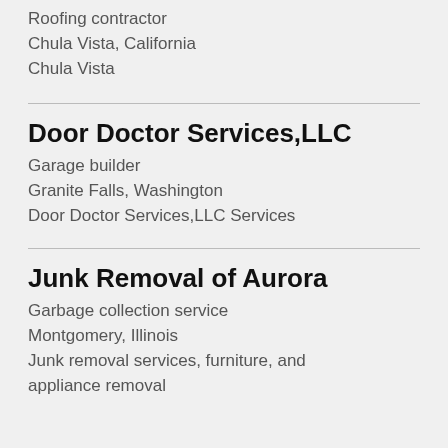Roofing contractor
Chula Vista, California
Chula Vista
Door Doctor Services,LLC
Garage builder
Granite Falls, Washington
Door Doctor Services,LLC Services
Junk Removal of Aurora
Garbage collection service
Montgomery, Illinois
Junk removal services, furniture, and appliance removal